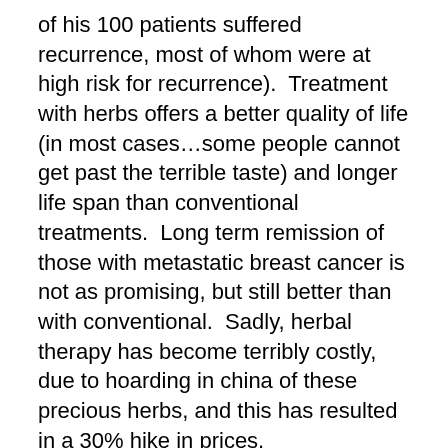of his 100 patients suffered recurrence, most of whom were at high risk for recurrence).  Treatment with herbs offers a better quality of life (in most cases…some people cannot get past the terrible taste) and longer life span than conventional treatments.  Long term remission of those with metastatic breast cancer is not as promising, but still better than with conventional.  Sadly, herbal therapy has become terribly costly, due to hoarding in china of these precious herbs, and this has resulted in a 30% hike in prices.
So, who might consider Chinese herbs?
It's an individual choice.  Chinese herbs are not traditionally intended to be anticancer herbs, but herbalists have found that they are effective against cancer.  There is strong evidence that Chinese herbs suppress cancer cells.